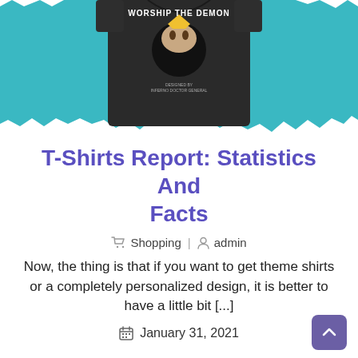[Figure (photo): A dark t-shirt with the text 'WORSHIP THE DEMON' on a teal/blue torn-paper background]
T-Shirts Report: Statistics And Facts
🗂 Shopping | 👤 admin
Now, the thing is that if you want to get theme shirts or a completely personalized design, it is better to have a little bit [...]
📅 January 31, 2021